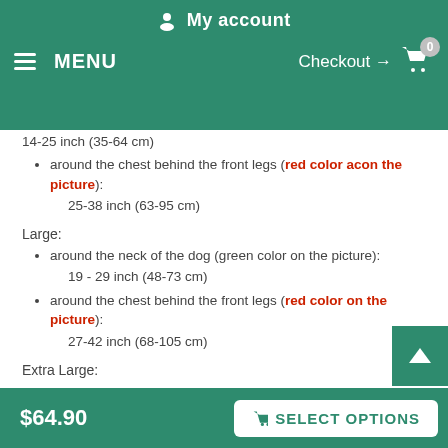My account | MENU | Checkout → 0
14-25 inch (35-64 cm)
around the chest behind the front legs (red color acon the picture): 25-38 inch (63-95 cm)
Large:
around the neck of the dog (green color on the picture): 19 - 29 inch (48-73 cm)
around the chest behind the front legs (red color on the picture): 27-42 inch (68-105 cm)
Extra Large:
$64.90 | SELECT OPTIONS